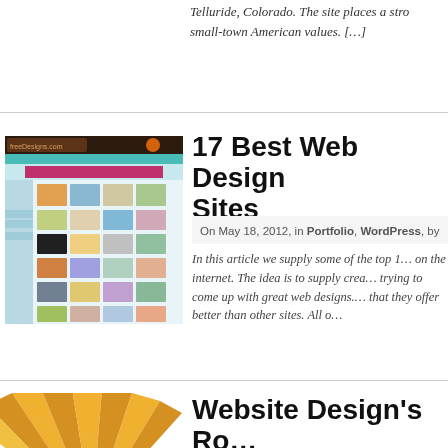Telluride, Colorado. The site places a stro… small-town American values. […]
[Figure (screenshot): Screenshot thumbnail of a web design gallery website showing multiple colorful website thumbnails in a grid layout.]
17 Best Web Design Sites
On May 18, 2012, in Portfolio, WordPress, by…
In this article we supply some of the top 1… on the internet. The idea is to supply crea… trying to come up with great web designs.… that they offer better than other sites. All o…
[Figure (illustration): Partial circular illustration with gold/orange sunburst rays, appearing to be a logo or decorative image.]
Website Design's Ro… Marketing